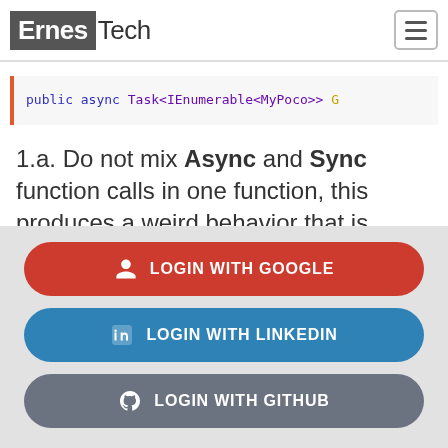ErnesTech
1.a. Do not mix Async and Sync function calls in one function, this produces a weird behavior that is really hard to debug
[Figure (screenshot): Login overlay with three buttons: LOGIN WITH GOOGLE (red), LOGIN WITH LINKEDIN (blue), LOGIN WITH GITHUB (gray)]